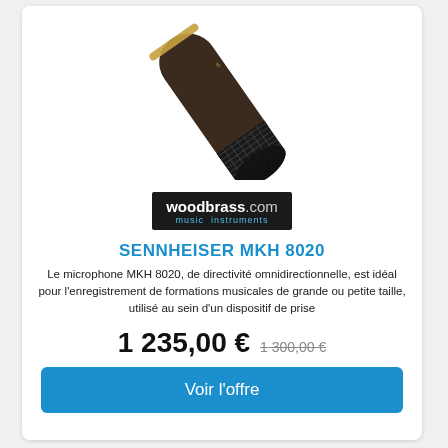[Figure (photo): Close-up photo of a Sennheiser MKH 8020 microphone, dark brown/black cylindrical body with mesh grille at the bottom, angled diagonally]
[Figure (logo): Woodbrass.com music instruments logo — white bold text on black background with blue tagline]
SENNHEISER MKH 8020
Le microphone MKH 8020, de directivité omnidirectionnelle, est idéal pour l'enregistrement de formations musicales de grande ou petite taille, utilisé au sein d'un dispositif de prise
1 235,00 € 1 300,00 €
Voir l'offre